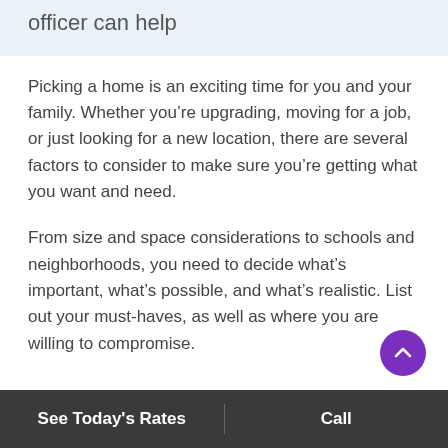officer can help
Picking a home is an exciting time for you and your family. Whether you're upgrading, moving for a job, or just looking for a new location, there are several factors to consider to make sure you're getting what you want and need.
From size and space considerations to schools and neighborhoods, you need to decide what's important, what's possible, and what's realistic. List out your must-haves, as well as where you are willing to compromise.
See Today's Rates | Call